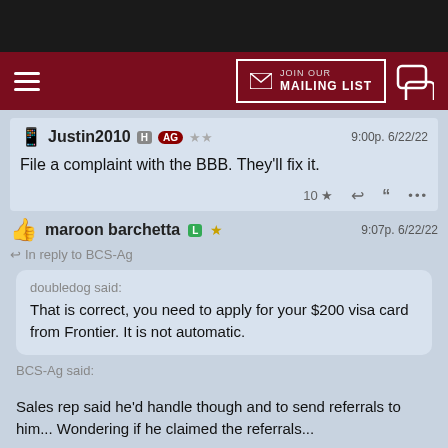[Figure (screenshot): Dark top navigation bar]
[Figure (screenshot): Dark red navigation bar with hamburger menu, JOIN OUR MAILING LIST button with envelope icon, and chat icon]
Justin2010 H AG ★★   9:00p. 6/22/22
File a complaint with the BBB. They'll fix it.
10 ★
maroon barchetta L ★   9:07p. 6/22/22
In reply to BCS-Ag
doubledog said:
That is correct, you need to apply for your $200 visa card from Frontier. It is not automatic.
BCS-Ag said:
Sales rep said he'd handle though and to send referrals to him... Wondering if he claimed the referrals...